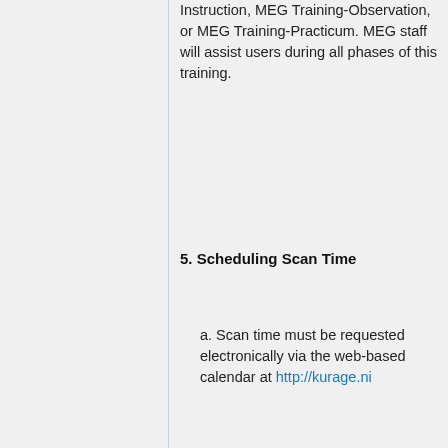Instruction, MEG Training-Observation, or MEG Training-Practicum. MEG staff will assist users during all phases of this training.
5. Scheduling Scan Time
a. Scan time must be requested electronically via the web-based calendar at http://kurage.ni